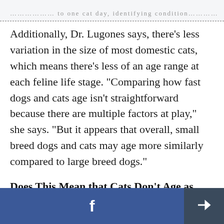……………… to one cat day, identifying condition……
Additionally, Dr. Lugones says, there's less variation in the size of most domestic cats, which means there's less of an age range at each feline life stage. "Comparing how fast dogs and cats age isn't straightforward because there are multiple factors at play," she says. "But it appears that overall, small breed dogs and cats may age more similarly compared to large breed dogs."
Does This Mean that Cats Don't Age as Quickly As Dogs?